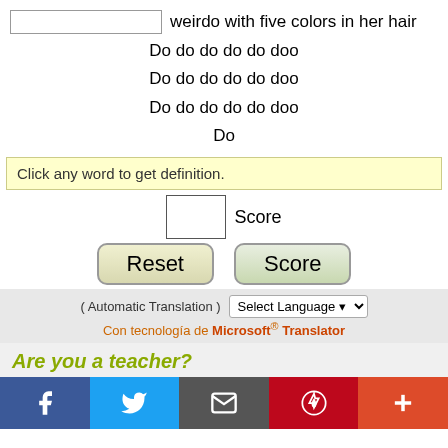[input box] weirdo with five colors in her hair
Do do do do do doo
Do do do do do doo
Do do do do do doo
Do
Click any word to get definition.
[score box] Score
Reset   Score
( Automatic Translation )  Select Language ▾
Con tecnología de Microsoft® Translator
Are you a teacher?